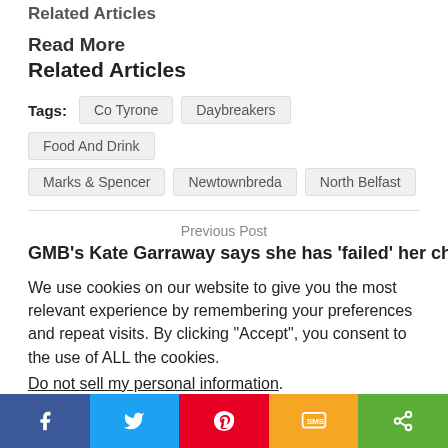Related Articles
Read More
Related Articles
Tags: Co Tyrone  Daybreakers  Food And Drink  Marks & Spencer  Newtownbreda  North Belfast
Previous Post
GMB's Kate Garraway says she has 'failed' her children'
We use cookies on our website to give you the most relevant experience by remembering your preferences and repeat visits. By clicking “Accept”, you consent to the use of ALL the cookies.
Do not sell my personal information.
Facebook  Twitter  Pinterest  SMS  Share